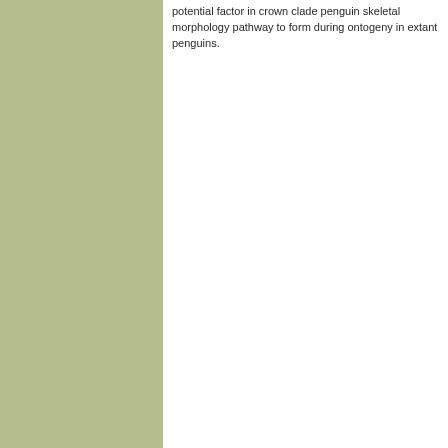potential factor in crown clade penguin skeletal morphology pathway to form during ontogeny in extant penguins.